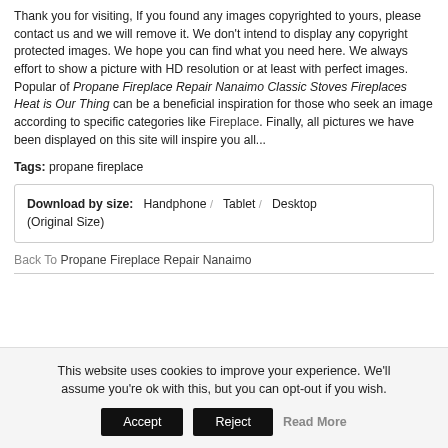Thank you for visiting, If you found any images copyrighted to yours, please contact us and we will remove it. We don't intend to display any copyright protected images. We hope you can find what you need here. We always effort to show a picture with HD resolution or at least with perfect images. Popular of Propane Fireplace Repair Nanaimo Classic Stoves Fireplaces Heat is Our Thing can be a beneficial inspiration for those who seek an image according to specific categories like Fireplace. Finally, all pictures we have been displayed on this site will inspire you all...
Tags: propane fireplace
Download by size: Handphone / Tablet / Desktop (Original Size)
Back To Propane Fireplace Repair Nanaimo
This website uses cookies to improve your experience. We'll assume you're ok with this, but you can opt-out if you wish. Accept Reject Read More